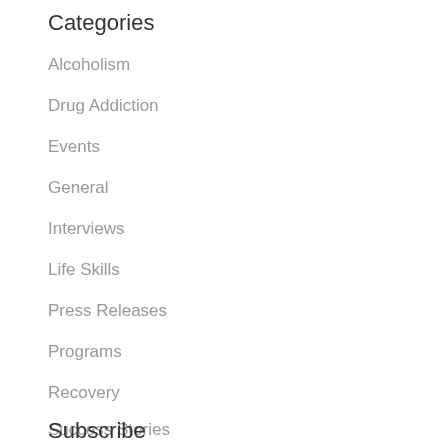Categories
Alcoholism
Drug Addiction
Events
General
Interviews
Life Skills
Press Releases
Programs
Recovery
Success Stories
Uncategorized
Subscribe